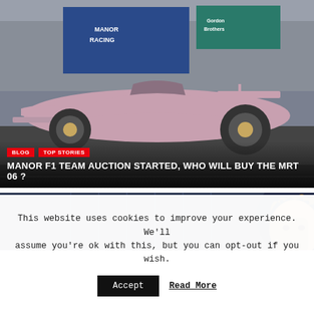[Figure (photo): Manor F1 Racing MRT 06 car on display in a workshop/factory setting with Manor Racing and Gordon Brothers banners in background. Car is pink/white livery.]
BLOG
TOP STORIES
MANOR F1 TEAM AUCTION STARTED, WHO WILL BUY THE MRT 06 ?
[Figure (photo): Portrait photo of a person with curly/wavy hair, partial view, dark background with vertical lines.]
This website uses cookies to improve your experience. We'll assume you're ok with this, but you can opt-out if you wish.
Accept   Read More